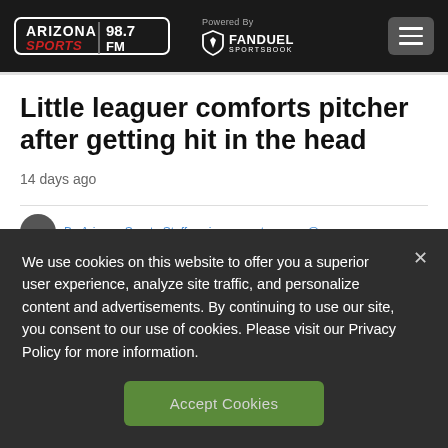Arizona Sports 98.7 FM | Powered By FANDUEL SPORTSBOOK
Little leaguer comforts pitcher after getting hit in the head
14 days ago
We use cookies on this website to offer you a superior user experience, analyze site traffic, and personalize content and advertisements. By continuing to use our site, you consent to our use of cookies. Please visit our Privacy Policy for more information.
Accept Cookies